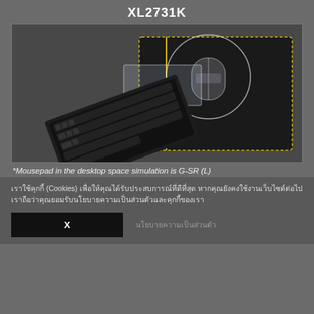XL2731K
[Figure (illustration): A keyboard and mouse setup diagram showing a mousepad (G-SR L) on a desk surface. A keyboard is placed on the left side, a circle outline indicates the mouse movement area. A yellow arrow points left toward a yellow vertical line demarcating the mousepad area. The mousepad appears as a large dark rectangle with a dotted yellow border.]
*Mousepad in the desktop space simulation is G-SR (L)
เราใช้คุกกี้ (Cookies) เพื่อให้คุณได้รับประสบการณ์ที่ดีที่สุด หากคุณยังคงใช้งานเว็บไซต์ต่อไป เราถือว่าคุณยอมรับนโยบายความเป็นส่วนตัวและคุกกี้ของเรา
X
นโยบายความเป็นส่วนตัว